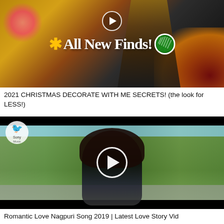[Figure (screenshot): Video thumbnail showing two women with Christmas decorations, text overlay 'All New Finds!' with a snowflake icon and Walmart logo, and a play button at top]
2021 CHRISTMAS DECORATE WITH ME SECRETS! (the look for LESS!)
[Figure (screenshot): Video thumbnail of a young woman with glasses and long dark hair looking at a red phone, standing outdoors with green trees, white play button overlay, small bird logo top-left, black bars top and bottom]
Romantic Love Nagpuri Song 2019 | Latest Love Story Vid